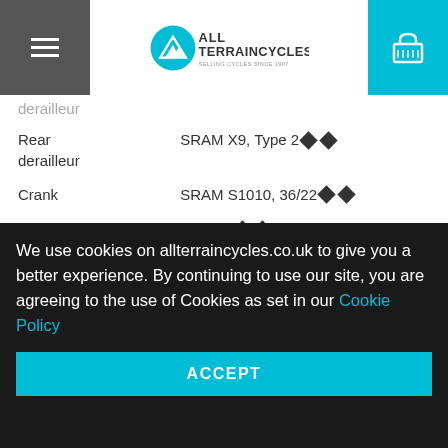All Terrain Cycles — navigation header with logo and cart
| Attribute | Value |
| --- | --- |
| derailleur |  |
| Rear derailleur | SRAM X9, Type 2 |
| Crank | SRAM S1010, 36/22 |
| Bottom bracket | press fit |
| Cassette | Shimano HG62 11-36, 10 speed |
| Components |  |
| Saddle | Bontrager Evoke 2, chromoly rails |
| Seatpost | Bontrager Approved, 27.2mm, 8mm offset |
We use cookies on allterraincycles.co.uk to give you a better experience. By continuing to use our site, you are agreeing to the use of Cookies as set in our Cookie Policy
ACCEPT